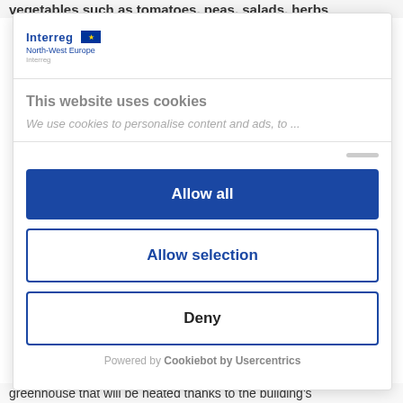vegetables such as tomatoes, peas, salads, herbs
[Figure (logo): Interreg North-West Europe logo with EU flag]
This website uses cookies
We use cookies to personalise content and ads, to ...
Allow all
Allow selection
Deny
Powered by Cookiebot by Usercentrics
greenhouse that will be heated thanks to the building's